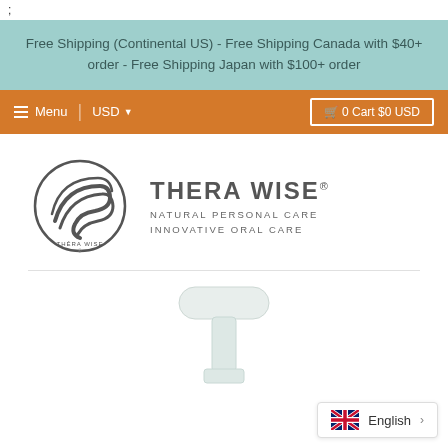;
Free Shipping (Continental US) - Free Shipping Canada with $40+ order - Free Shipping Japan with $100+ order
Menu   USD   0 Cart $0 USD
[Figure (logo): Thera Wise logo: circular swoosh graphic with THÈRA WISE text, accompanied by THERA WISE® NATURAL PERSONAL CARE INNOVATIVE ORAL CARE]
[Figure (photo): Partial product image showing top of a white pump dispenser bottle against white background]
English >